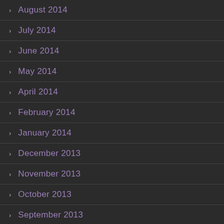August 2014
July 2014
June 2014
May 2014
April 2014
February 2014
January 2014
December 2013
November 2013
October 2013
September 2013